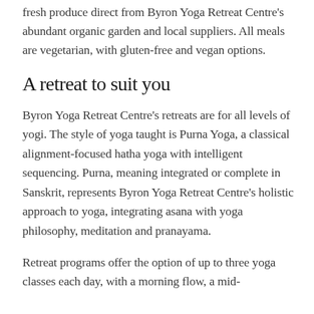fresh produce direct from Byron Yoga Retreat Centre's abundant organic garden and local suppliers. All meals are vegetarian, with gluten-free and vegan options.
A retreat to suit you
Byron Yoga Retreat Centre's retreats are for all levels of yogi. The style of yoga taught is Purna Yoga, a classical alignment-focused hatha yoga with intelligent sequencing. Purna, meaning integrated or complete in Sanskrit, represents Byron Yoga Retreat Centre's holistic approach to yoga, integrating asana with yoga philosophy, meditation and pranayama.
Retreat programs offer the option of up to three yoga classes each day, with a morning flow, a mid-